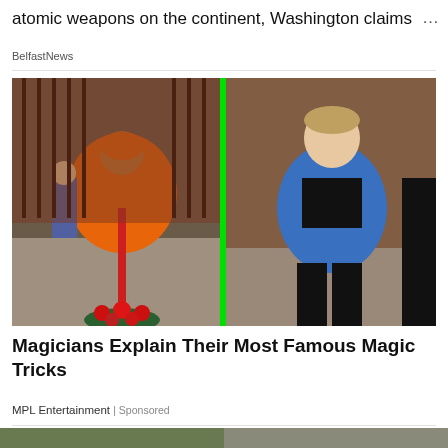atomic weapons on the continent, Washington claims
BelfastNews
[Figure (photo): Split image: left side shows a person in orange robes appearing to levitate above a red pole over a bed of red flowers on a city sidewalk, with another person standing behind. A bright green vertical line divides the image. Right side shows a smiling man in a blue jacket and black pants laughing and bending forward outdoors.]
Magicians Explain Their Most Famous Magic Tricks
MPL Entertainment | Sponsored